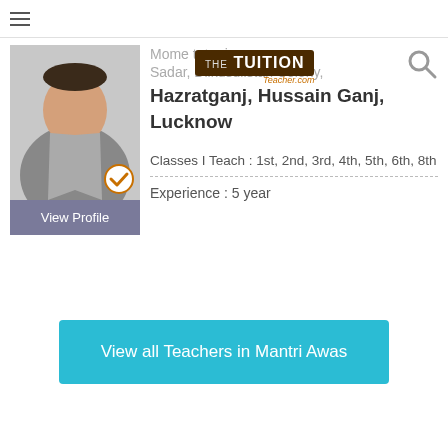[Figure (screenshot): Tuition Teacher website logo overlay with brown background and orange subtitle]
Mohammad is a home tutor in Sadar, Dilkusha, Gulistan Colony, Hazratganj, Hussain Ganj, Lucknow
Classes I Teach : 1st, 2nd, 3rd, 4th, 5th, 6th, 8th
Experience :  5 year
View Profile
View all Teachers in Mantri Awas